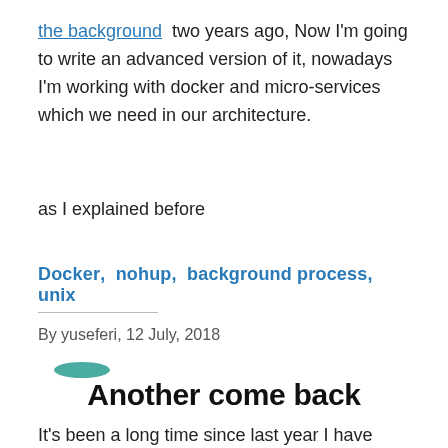the background   two years ago, Now I'm going to write an advanced version of it, nowadays I'm working with docker and micro-services which we need in our architecture.
as I explained before
Docker,  nohup,  background process,  unix
By yuseferi, 12 July, 2018
Another come back
It's been a long time since last year I have written